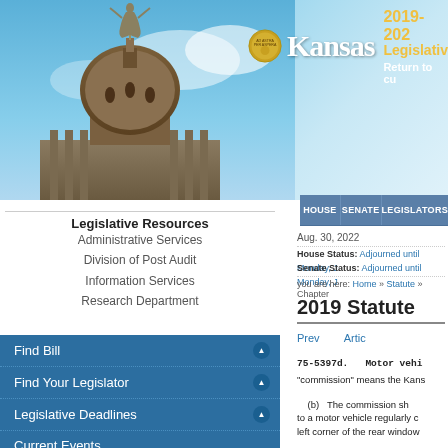[Figure (screenshot): Kansas State Capitol building dome with statue on top against blue sky background]
2019-2022 Legislative
Return to cu
HOUSE   SENATE   LEGISLATORS
Aug. 30, 2022
House Status: Adjourned until Monday, J
Senate Status: Adjourned until Monday, J
you are here: Home » Statute » Chapter
Find Bill
Find Your Legislator
Legislative Deadlines
Current Events
Statute
Legislative Resources
Administrative Services
Division of Post Audit
Information Services
Research Department
2019 Statute
Prev
Artic
75-5397d.   Motor vehi
"commission" means the Kans
(b)   The commission sh
to a motor vehicle regularly c
left corner of the rear window